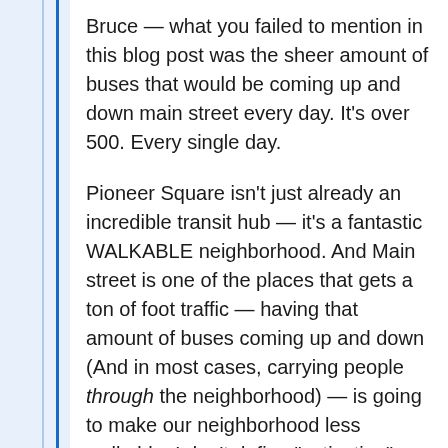Bruce — what you failed to mention in this blog post was the sheer amount of buses that would be coming up and down main street every day. It's over 500. Every single day.
Pioneer Square isn't just already an incredible transit hub — it's a fantastic WALKABLE neighborhood. And Main street is one of the places that gets a ton of foot traffic — having that amount of buses coming up and down (And in most cases, carrying people through the neighborhood) — is going to make our neighborhood less walkable. I don't define "activation" as buses driving through the